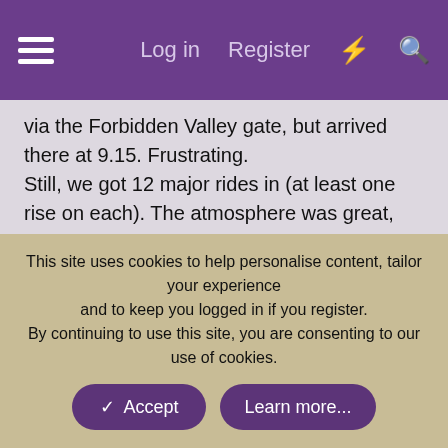Log in   Register
via the Forbidden Valley gate, but arrived there at 9.15. Frustrating.
Still, we got 12 major rides in (at least one rise on each). The atmosphere was great, we managed to dodge the few showers that hit (heaviest ones came when we were in the Woodcutter). Park staff were universally superb.
Given I had doubts we'd even be able to make it to Scarefest this year, a great day out.
This site uses cookies to help personalise content, tailor your experience and to keep you logged in if you register.
By continuing to use this site, you are consenting to our use of cookies.